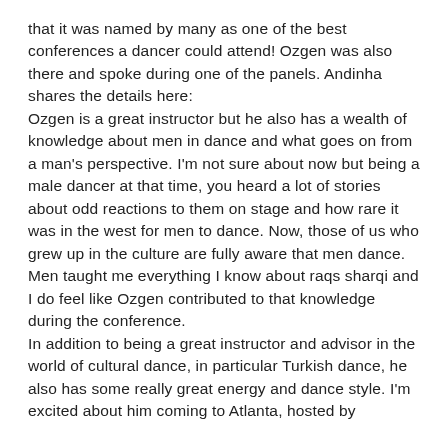that it was named by many as one of the best conferences a dancer could attend! Ozgen was also there and spoke during one of the panels. Andinha shares the details here:
Ozgen is a great instructor but he also has a wealth of knowledge about men in dance and what goes on from a man's perspective. I'm not sure about now but being a male dancer at that time, you heard a lot of stories about odd reactions to them on stage and how rare it was in the west for men to dance. Now, those of us who grew up in the culture are fully aware that men dance. Men taught me everything I know about raqs sharqi and I do feel like Ozgen contributed to that knowledge during the conference.
In addition to being a great instructor and advisor in the world of cultural dance, in particular Turkish dance, he also has some really great energy and dance style. I'm excited about him coming to Atlanta, hosted by